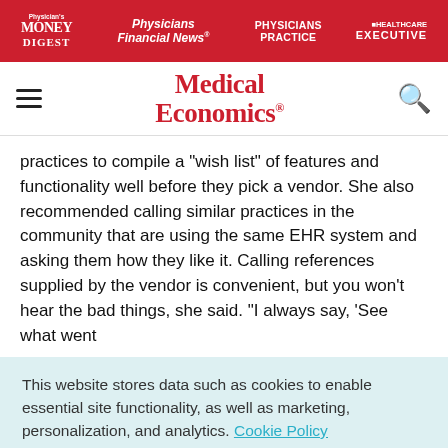Physician's Money Digest | Physicians Financial News | Physicians Practice | Healthcare Executive
[Figure (logo): Medical Economics logo with hamburger menu and search icon]
practices to compile a "wish list" of features and functionality well before they pick a vendor. She also recommended calling similar practices in the community that are using the same EHR system and asking them how they like it. Calling references supplied by the vendor is convenient, but you won't hear the bad things, she said. "I always say, 'See what went
This website stores data such as cookies to enable essential site functionality, as well as marketing, personalization, and analytics. Cookie Policy
Accept
Deny